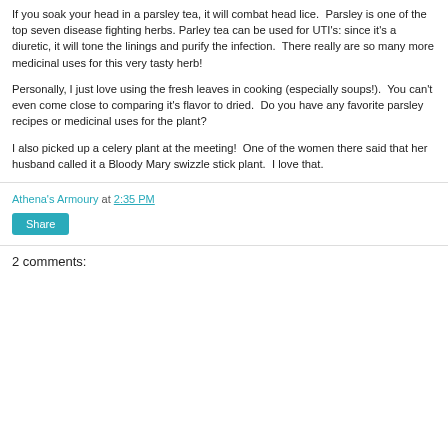If you soak your head in a parsley tea, it will combat head lice.  Parsley is one of the top seven disease fighting herbs.  Parley tea can be used for UTI's: since it's a diuretic, it will tone the linings and purify the infection.  There really are so many more medicinal uses for this very tasty herb!
Personally, I just love using the fresh leaves in cooking (especially soups!).  You can't even come close to comparing it's flavor to dried.  Do you have any favorite parsley recipes or medicinal uses for the plant?
I also picked up a celery plant at the meeting!  One of the women there said that her husband called it a Bloody Mary swizzle stick plant.  I love that.
Athena's Armoury at 2:35 PM
Share
2 comments: